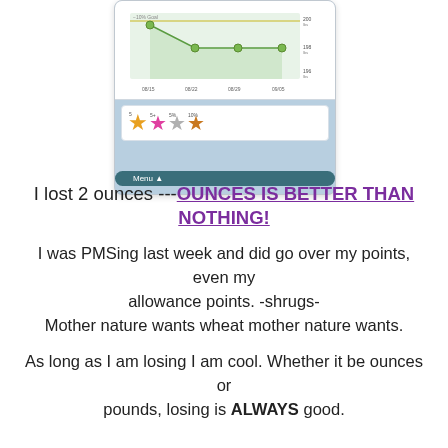[Figure (screenshot): App screenshot showing a weight tracking line chart with dates 08/15, 08/22, 08/29, 09/05 on x-axis and values around 196-200 lbs on y-axis with a 10% Goal line at 200 lbs, plus star badges (5, 5+, 5%, 10%) and a Menu button]
I lost 2 ounces ---OUNCES IS BETTER THAN NOTHING!
I was PMSing last week and did go over my points, even my allowance points. -shrugs- Mother nature wants wheat mother nature wants.
As long as I am losing I am cool. Whether it be ounces or pounds, losing is ALWAYS good.